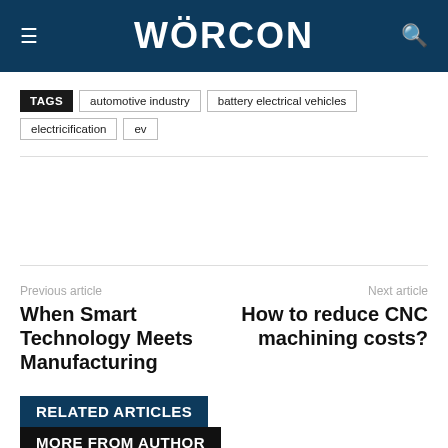WÖRCON
TAGS  automotive industry  battery electrical vehicles  electricification  ev
Previous article
When Smart Technology Meets Manufacturing
Next article
How to reduce CNC machining costs?
RELATED ARTICLES
MORE FROM AUTHOR